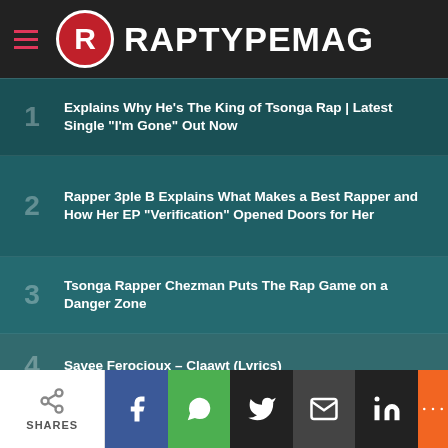RAPTYPEMAG
1 – (partial) Explains Why He's The King of Tsonga Rap | Latest Single "I'm Gone" Out Now
2 – Rapper 3ple B Explains What Makes a Best Rapper and How Her EP "Verification" Opened Doors for Her
3 – Tsonga Rapper Chezman Puts The Rap Game on a Danger Zone
4 – Savee Ferocioux – Claawt (Lyrics)
5 – Dala Fam on the Limpopo Music Awards. Best Rap Single "Papa Penny"
SHARES | Facebook | WhatsApp | Twitter | Email | LinkedIn | More